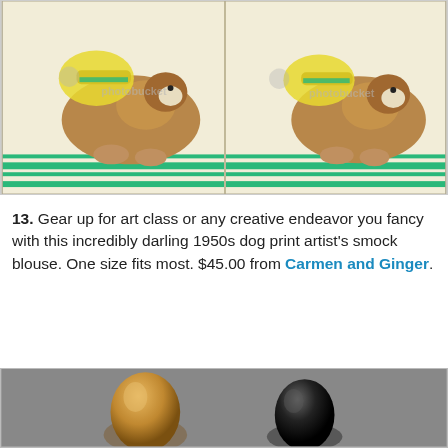[Figure (photo): Two side-by-side photos of a 1950s dog print artist's smock blouse laid flat, showing cream/white fabric with illustrated dog and yellow hat print and green horizontal stripes near the hem. Photobucket watermark overlay visible.]
13. Gear up for art class or any creative endeavor you fancy with this incredibly darling 1950s dog print artist's smock blouse. One size fits most. $45.00 from Carmen and Ginger.
[Figure (photo): Partial photo showing two ceramic or porcelain dog figurines on a gray background — one golden/tan colored on the left and one black on the right, partially cropped at bottom of page.]